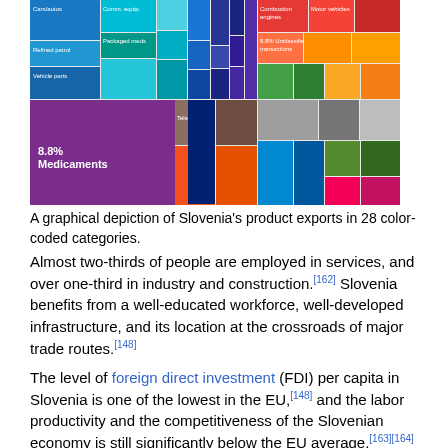[Figure (infographic): A treemap showing Slovenia's product exports in 28 color-coded categories. The largest segment (purple/dark) is labeled '8.8% Medicaments'. Other segments are colored in shades of blue, teal, orange, red, green, gray, brown, and yellow.]
A graphical depiction of Slovenia's product exports in 28 color-coded categories.
Almost two-thirds of people are employed in services, and over one-third in industry and construction.[162] Slovenia benefits from a well-educated workforce, well-developed infrastructure, and its location at the crossroads of major trade routes.[148]
The level of foreign direct investment (FDI) per capita in Slovenia is one of the lowest in the EU,[148] and the labor productivity and the competitiveness of the Slovenian economy is still significantly below the EU average.[163][164] Taxes are relatively high, the labor market is seen by business interests as being inflexible, and industries are losing sales to